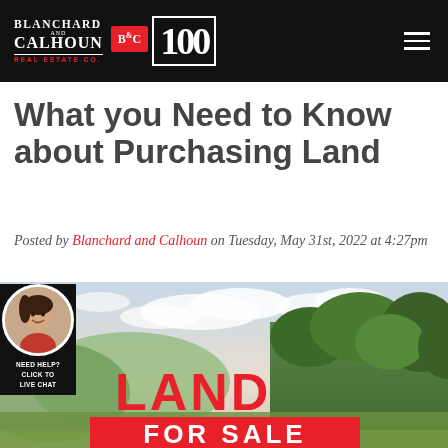Blanchard and Calhoun Real Estate Co. | 100
What you Need to Know about Purchasing Land
Posted by Blanchard and Calhoun on Tuesday, May 31st, 2022 at 4:27pm
[Figure (photo): Land For Sale sign in front of a scenic landscape with green trees and cloudy sky. A chat widget with a woman's photo appears in the lower left corner with 'NEED HELP? CLICK TO LIVE CHAT' text.]